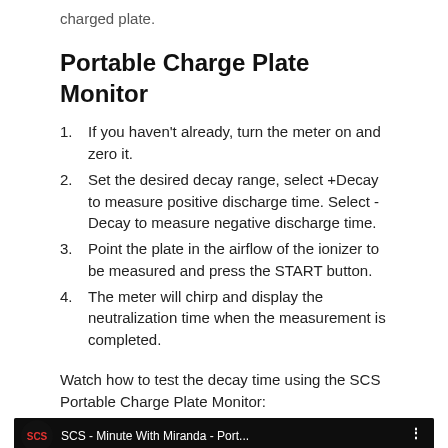charged plate.
Portable Charge Plate Monitor
If you haven't already, turn the meter on and zero it.
Set the desired decay range, select +Decay to measure positive discharge time. Select -Decay to measure negative discharge time.
Point the plate in the airflow of the ionizer to be measured and press the START button.
The meter will chirp and display the neutralization time when the measurement is completed.
Watch how to test the decay time using the SCS Portable Charge Plate Monitor:
[Figure (screenshot): Embedded YouTube video thumbnail showing 'SCS - Minute With Miranda - Port...' with SCS logo and a woman in a laboratory setting. Play button visible at bottom center.]